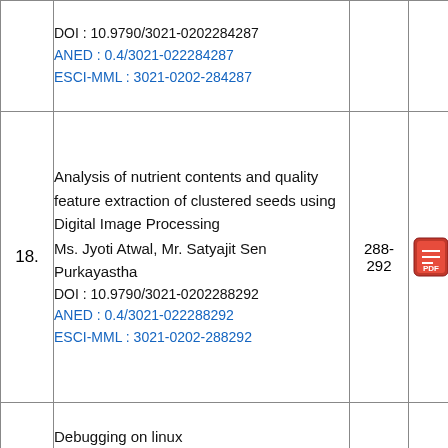| No. | Title / Authors / DOI / IDs | Pages | PDF |
| --- | --- | --- | --- |
|  | DOI : 10.9790/3021-0202284287
ANED : 0.4/3021-022284287
ESCI-MML : 3021-0202-284287 |  |  |
| 18. | Analysis of nutrient contents and quality feature extraction of clustered seeds using Digital Image Processing
Ms. Jyoti Atwal, Mr. Satyajit Sen Purkayastha
DOI : 10.9790/3021-0202288292
ANED : 0.4/3021-022288292
ESCI-MML : 3021-0202-288292 | 288-292 |  |
| 19. | Debugging on linux
Shakti D Shekar, Prof. Dr. B B Meshram, Prof. Varshapriya, Pranit Patil, Pranav Ambavkar
DOI : 10.9790/3021-0202293299 | 293-299 |  |